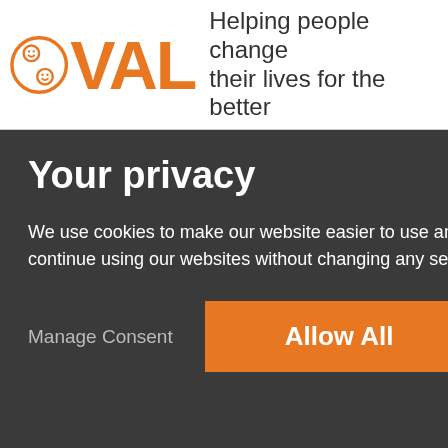8VAL – Helping people change their lives for the better
Your privacy
We use cookies to make our website easier to use and understand how people use our websites. If you continue using our websites without changing any settings, you consent to these cookies.
Manage Consent   Allow All
Dormant Assets Scheme in England in the years